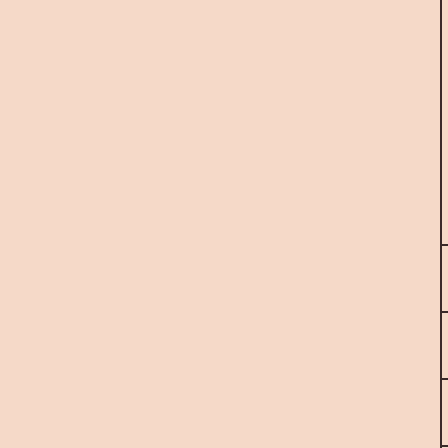| Date | Day |
| --- | --- |
| 6 Mar 2… | Friday |
| 7 Mar 2… | Saturday |
| 8 Mar 2… | Sunday |
| 9 Mar 2… | Monday |
| 10 Mar… | Tuesday |